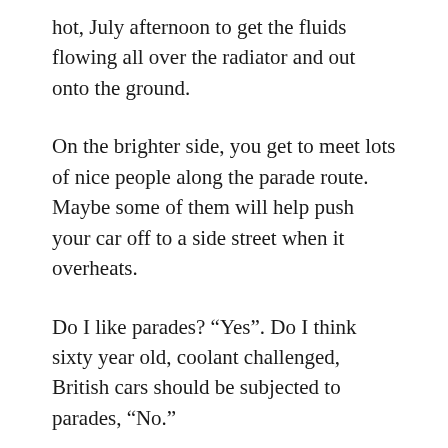hot, July afternoon to get the fluids flowing all over the radiator and out onto the ground.
On the brighter side, you get to meet lots of nice people along the parade route. Maybe some of them will help push your car off to a side street when it overheats.
Do I like parades? “Yes”. Do I think sixty year old, coolant challenged, British cars should be subjected to parades, “No.”
In case you feel differently than I do, and in fairness to everyone who feels differently, I have forwarded the following email from Fred Weisberger (Antique Automobile Club of